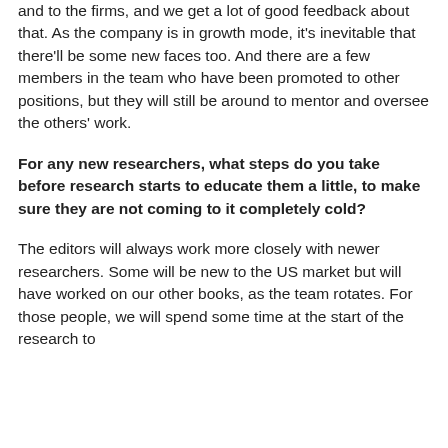and to the firms, and we get a lot of good feedback about that. As the company is in growth mode, it's inevitable that there'll be some new faces too. And there are a few members in the team who have been promoted to other positions, but they will still be around to mentor and oversee the others' work.
For any new researchers, what steps do you take before research starts to educate them a little, to make sure they are not coming to it completely cold?
The editors will always work more closely with newer researchers. Some will be new to the US market but will have worked on our other books, as the team rotates. For those people, we will spend some time at the start of the research to